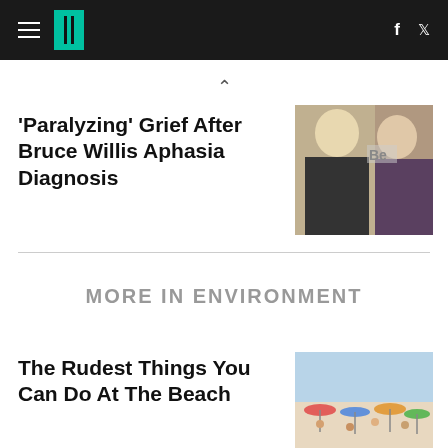HuffPost navigation header with hamburger menu, logo, Facebook and Twitter icons
^
'Paralyzing' Grief After Bruce Willis Aphasia Diagnosis
[Figure (photo): Photo of Bruce Willis and a woman at a red carpet event]
MORE IN ENVIRONMENT
The Rudest Things You Can Do At The Beach
[Figure (photo): Photo of a crowded beach with umbrellas and people]